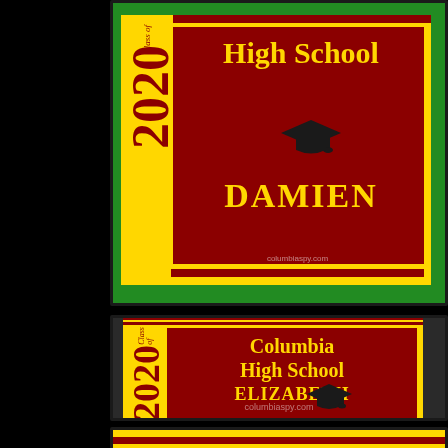[Figure (photo): Yard sign for Columbia High School Class of 2020 graduate named DAMIEN, red and yellow colors with graduation cap, placed in grass]
[Figure (photo): Yard sign for Columbia High School Class of 2020 graduate named ELIZABETH, red and yellow colors with graduation cap, displayed indoors, with columbiaspy.com watermark]
[Figure (photo): Partial view of another yard sign showing red and yellow color bands, stacked horizontally]